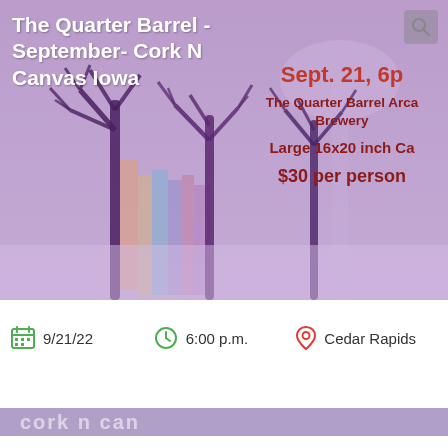[Figure (screenshot): Event banner image for Cork N Canvas Iowa at The Quarter Barrel Arcade Brewery, showing painted trees on a purple/mauve background]
The Quarter Barrel - September- Cork N Canvas Iowa
Sept. 21, 6p
The Quarter Barrel Arcade Brewery
Large 16x20 inch Ca
$30 per person
9/21/22
6:00 p.m.
Cedar Rapids